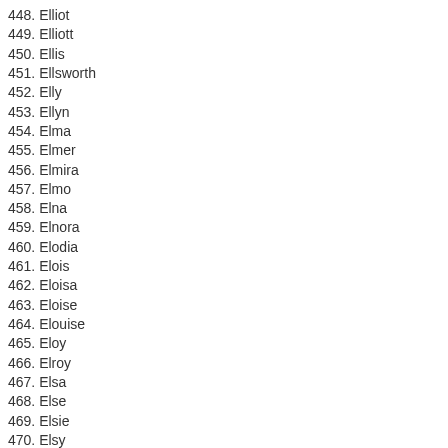448. Elliot
449. Elliott
450. Ellis
451. Ellsworth
452. Elly
453. Ellyn
454. Elma
455. Elmer
456. Elmira
457. Elmo
458. Elna
459. Elnora
460. Elodia
461. Elois
462. Eloisa
463. Eloise
464. Elouise
465. Eloy
466. Elroy
467. Elsa
468. Else
469. Elsie
470. Elsy
471. Elton
472. Elva